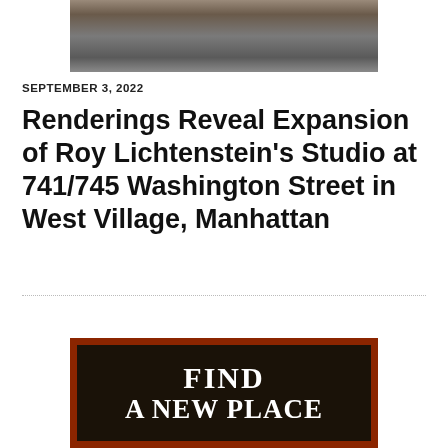[Figure (photo): Partial photo of a brick building street view, top portion visible]
SEPTEMBER 3, 2022
Renderings Reveal Expansion of Roy Lichtenstein’s Studio at 741/745 Washington Street in West Village, Manhattan
[Figure (photo): Advertisement image with brick border showing text FIND A NEW PLACE on dark background]